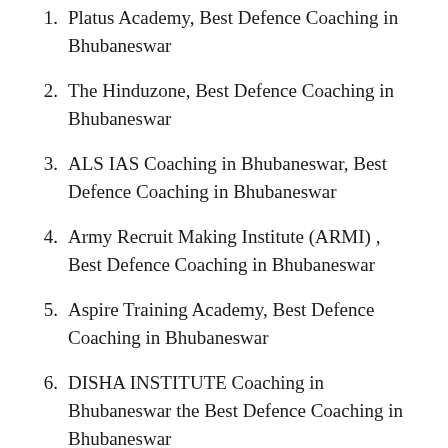Platus Academy, Best Defence Coaching in Bhubaneswar
The Hinduzone, Best Defence Coaching in Bhubaneswar
ALS IAS Coaching in Bhubaneswar, Best Defence Coaching in Bhubaneswar
Army Recruit Making Institute (ARMI) , Best Defence Coaching in Bhubaneswar
Aspire Training Academy, Best Defence Coaching in Bhubaneswar
DISHA INSTITUTE Coaching in Bhubaneswar the Best Defence Coaching in Bhubaneswar